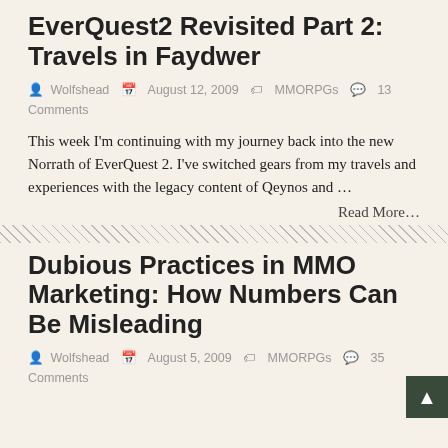EverQuest2 Revisited Part 2: Travels in Faydwer
Wolfshead   August 12, 2009   MMORPGs   13 Comments
This week I'm continuing with my journey back into the new Norrath of EverQuest 2. I've switched gears from my travels and experiences with the legacy content of Qeynos and …
Read More…
Dubious Practices in MMO Marketing: How Numbers Can Be Misleading
Wolfshead   August 5, 2009   MMORPGs   35 Comments